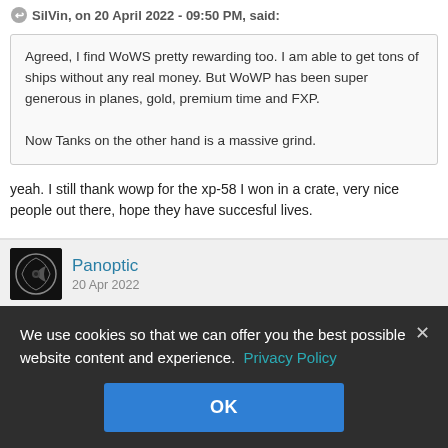SilVin, on 20 April 2022 - 09:50 PM, said:
Agreed, I find WoWS pretty rewarding too. I am able to get tons of ships without any real money. But WoWP has been super generous in planes, gold, premium time and FXP.

Now Tanks on the other hand is a massive grind.
yeah. I still thank wowp for the xp-58 I won in a crate, very nice people out there, hope they have succesful lives.
Panoptic
20 Apr 2022
Sink_Stuff, on 20 April 2022 - 02:05 PM, said:
We use cookies so that we can offer you the best possible website content and experience. Privacy Policy
OK